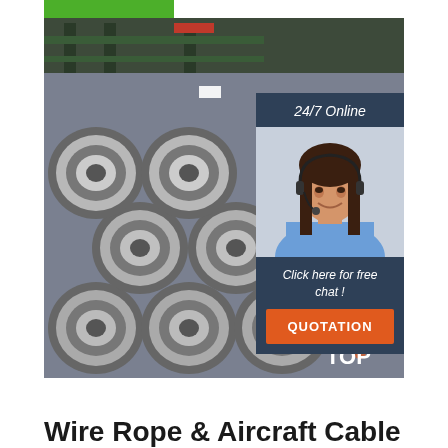[Figure (photo): Stacked coils of steel wire rope/rods in an industrial warehouse, with green structural beams visible in the background]
24/7 Online
[Figure (photo): Female customer service agent with headset, smiling]
Click here for free chat !
QUOTATION
Wire Rope & Aircraft Cable